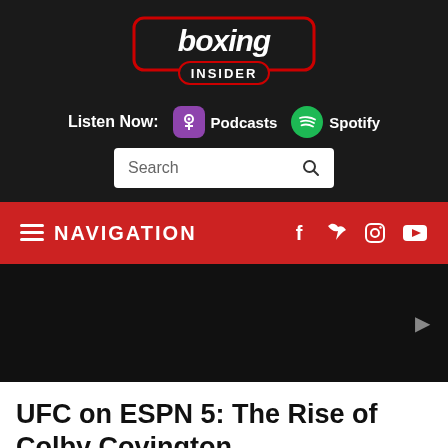[Figure (logo): Boxing Insider logo — white stylized text 'boxing' with 'INSIDER' below, red outline, on dark background]
Listen Now: Podcasts Spotify
Search
≡ NAVIGATION
[Figure (photo): Dark hero image with a small arrow/chevron icon on the right side]
UFC on ESPN 5: The Rise of Colby Covington